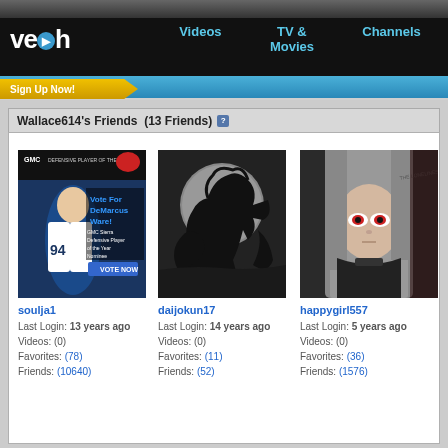[Figure (screenshot): Veoh website header with logo, navigation links (Videos, TV & Movies, Channels), blue stripe, and Sign Up Now button]
Wallace614's Friends  (13 Friends) ?
[Figure (photo): Profile image for soulja1: Dallas Cowboys player DeMarcus Ware GMC Defensive Player of the Year Nominee advertisement]
soulja1
Last Login: 13 years ago
Videos: (0)
Favorites: (78)
Friends: (10640)
[Figure (illustration): Profile image for daijokun17: Dark fantasy creature/horse with moon background, black silhouette art]
daijokun17
Last Login: 14 years ago
Videos: (0)
Favorites: (11)
Friends: (52)
[Figure (illustration): Profile image for happygirl557: Anime-style girl with gray hair and red eye, dark gothic art]
happygirl557
Last Login: 5 years ago
Videos: (0)
Favorites: (36)
Friends: (1576)